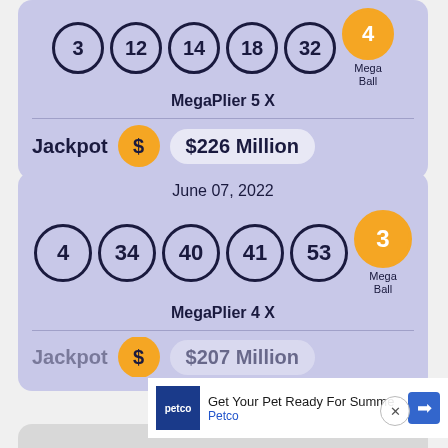[Figure (infographic): Mega Millions lottery card (partial top) showing numbers 3, 12, 14, 18, 32 and Mega Ball 4, with MegaPlier 5X and Jackpot $226 Million]
[Figure (infographic): Mega Millions lottery card for June 07, 2022 showing numbers 4, 34, 40, 41, 53 and Mega Ball 3, with MegaPlier 4X and partial Jackpot $207 Million]
[Figure (infographic): Advertisement banner: Get Your Pet Ready For Summe - Petco, with navigation arrow icon]
[Figure (infographic): Partial third lottery card at bottom of page]